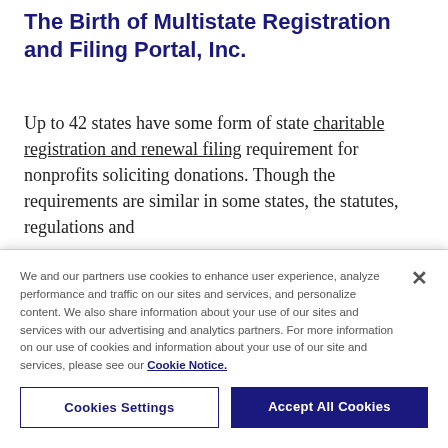The Birth of Multistate Registration and Filing Portal, Inc.
Up to 42 states have some form of state charitable registration and renewal filing requirement for nonprofits soliciting donations. Though the requirements are similar in some states, the statutes, regulations and
We and our partners use cookies to enhance user experience, analyze performance and traffic on our sites and services, and personalize content. We also share information about your use of our sites and services with our advertising and analytics partners. For more information on our use of cookies and information about your use of our site and services, please see our Cookie Notice.